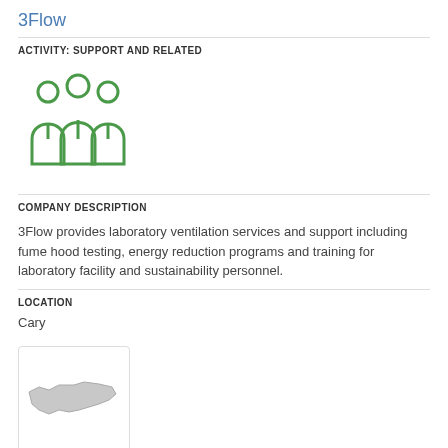3Flow
ACTIVITY: SUPPORT AND RELATED
[Figure (illustration): Green icon of three human figures/people representing a group or team]
COMPANY DESCRIPTION
3Flow provides laboratory ventilation services and support including fume hood testing, energy reduction programs and training for laboratory facility and sustainability personnel.
LOCATION
Cary
[Figure (map): Small map image showing the state of North Carolina with a marker or shape indicating a location]